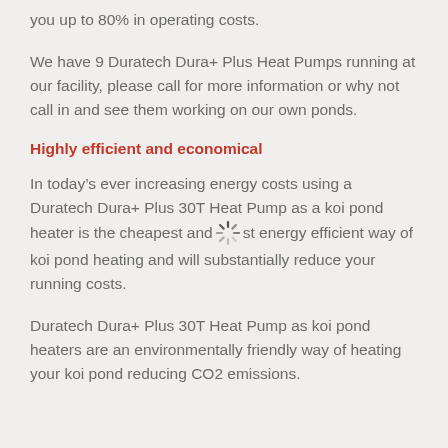you up to 80% in operating costs.
We have 9 Duratech Dura+ Plus Heat Pumps running at our facility, please call for more information or why not call in and see them working on our own ponds.
Highly efficient and economical
In today’s ever increasing energy costs using a Duratech Dura+ Plus 30T Heat Pump as a koi pond heater is the cheapest and most energy efficient way of koi pond heating and will substantially reduce your running costs.
Duratech Dura+ Plus 30T Heat Pump as koi pond heaters are an environmentally friendly way of heating your koi pond reducing CO2 emissions.